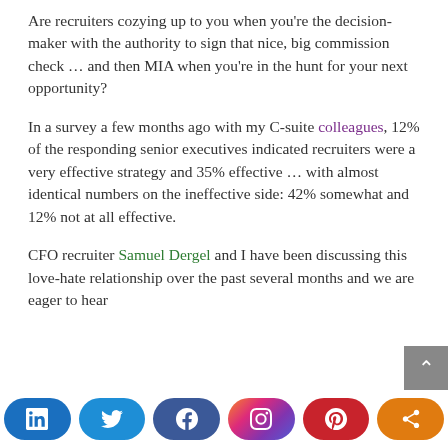Are recruiters cozying up to you when you're the decision-maker with the authority to sign that nice, big commission check … and then MIA when you're in the hunt for your next opportunity?
In a survey a few months ago with my C-suite colleagues, 12% of the responding senior executives indicated recruiters were a very effective strategy and 35% effective … with almost identical numbers on the ineffective side: 42% somewhat and 12% not at all effective.
CFO recruiter Samuel Dergel and I have been discussing this love-hate relationship over the past several months and we are eager to hear
[Figure (other): Social media sharing buttons: LinkedIn, Twitter, Facebook, Instagram, Pinterest, Share]